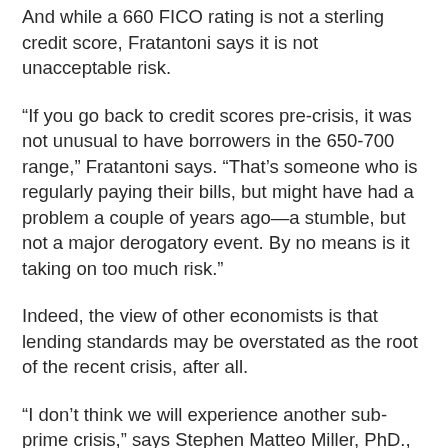And while a 660 FICO rating is not a sterling credit score, Fratantoni says it is not unacceptable risk.
“If you go back to credit scores pre-crisis, it was not unusual to have borrowers in the 650-700 range,” Fratantoni says. “That’s someone who is regularly paying their bills, but might have had a problem a couple of years ago—a stumble, but not a major derogatory event. By no means is it taking on too much risk.”
Indeed, the view of other economists is that lending standards may be overstated as the root of the recent crisis, after all.
“I don’t think we will experience another sub-prime crisis,” says Stephen Matteo Miller, PhD., a senior research fellow in financial crisis at George Mason University’s Mercatus Center. “My view is that the demand for structured finance [collateralized debt obligations] drove the residential mortgage-backed securities market leading